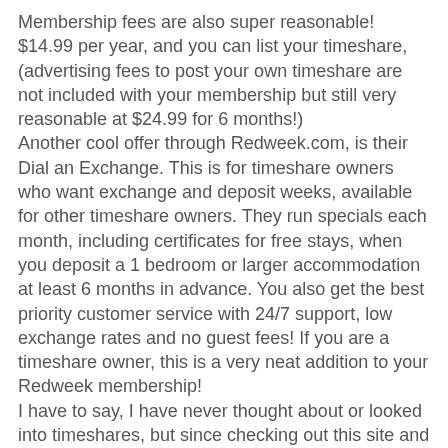Membership fees are also super reasonable! $14.99 per year, and you can list your timeshare, (advertising fees to post your own timeshare are not included with your membership but still very reasonable at $24.99 for 6 months!)
Another cool offer through Redweek.com, is their Dial an Exchange. This is for timeshare owners who want exchange and deposit weeks, available for other timeshare owners. They run specials each month, including certificates for free stays, when you deposit a 1 bedroom or larger accommodation at least 6 months in advance. You also get the best priority customer service with 24/7 support, low exchange rates and no guest fees! If you are a timeshare owner, this is a very neat addition to your Redweek membership!
I have to say, I have never thought about or looked into timeshares, but since checking out this site and all they have to offer, we will be searching on Redweek, before we plan from now on. I am very satisfied with the ratings, reviews, prices, availability, and offers. Plus, the site is very easy to understand, navigate and had all of the answers to my questions!